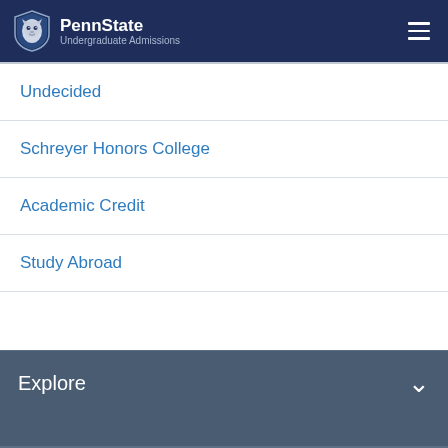PennState Undergraduate Admissions
Undecided
Schreyer Honors College
Academic Credit
Study Abroad
Explore